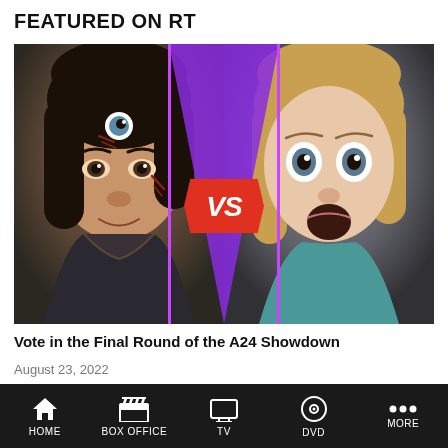FEATURED ON RT
[Figure (photo): Two actors facing off in an A24 Showdown promotional image. Left: Asian woman with a fake eye on her forehead and facial wounds. Right: Blonde woman with wide frightened eyes. A purple triangle divides them in the center with a red 'VS' badge overlay.]
Vote in the Final Round of the A24 Showdown
August 23, 2022
[Figure (photo): Partial preview of a second article image showing a dark scene with a person.]
HOME   BOX OFFICE   TV   DVD   MORE